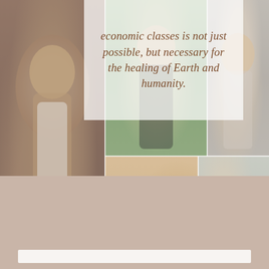[Figure (photo): A collage of diverse women of different races and economic backgrounds. Left: a Black woman with curly hair. Center top: a woman smiling with eyes closed surrounded by greenery. Right top: a woman of color with eyes closed. Center bottom: four women of different ethnicities hugging closely together. Bottom right: two women interacting.]
economic classes is not just possible, but necessary for the healing of Earth and humanity.